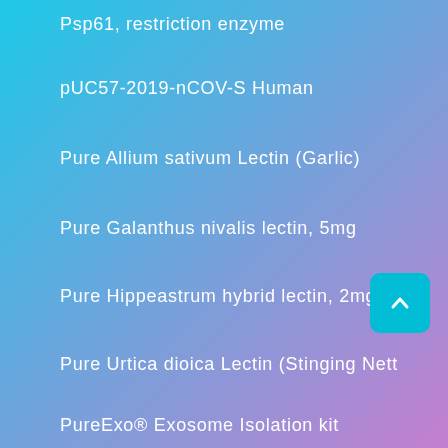Psp61, restriction enzyme
pUC57-2019-nCOV-S Human
Pure Allium sativum Lectin (Garlic)
Pure Galanthus nivalis lectin, 5mg
Pure Hippeastrum hybrid lectin, 2mg
Pure Urtica dioica Lectin (Stinging Nett
PureExo® Exosome Isolation kit